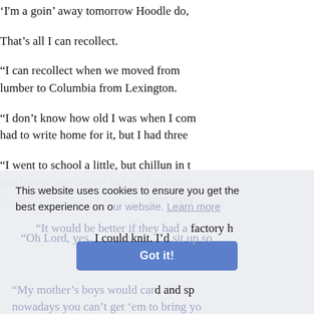'I'm a goin' away tomorrow Hoodle do,
That's all I can recollect.
"I can recollect when we moved from lumber to Columbia from Lexington.
"I don't know how old I was when I co... had to write home for it, but I had three
"I went to school a little, but chillun in t... and ironin' and sewin' and so if anybody pockets in pants for mama. In them days
"It would be better if they had a factory h
"Oh Lord, yes, I could knit. I'd sit up so
"My mother's boys would card and sp... nowadays you can't get 'em to bring yo
This website uses cookies to ensure you get the best experience on our website. Learn more